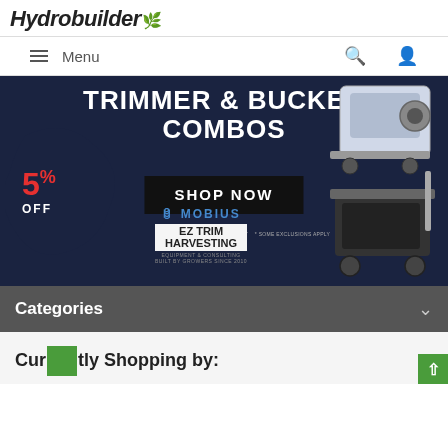[Figure (logo): Hydrobuilder logo with stylized handwritten text and green leaf icon]
Menu (hamburger icon, search icon, user icon)
[Figure (infographic): Trimmer & Bucker Combos promotional banner with 5% off badge, Shop Now button, Mobius and EZ Trim Harvesting brand logos, and image of trimming machine]
Categories
Currently Shopping by: